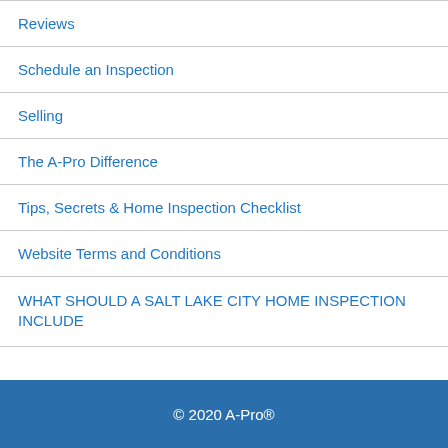Reviews
Schedule an Inspection
Selling
The A-Pro Difference
Tips, Secrets & Home Inspection Checklist
Website Terms and Conditions
WHAT SHOULD A SALT LAKE CITY HOME INSPECTION INCLUDE
© 2020 A-Pro®